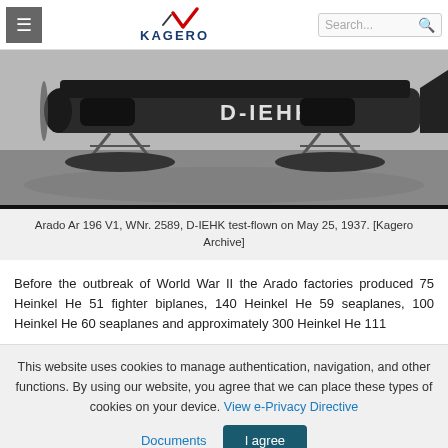Kagero website navigation header with hamburger menu, Kagero logo, and search bar
[Figure (photo): Black and white photograph of Arado Ar 196 V1 floatplane on water, with registration D-IEHK visible on fuselage]
Arado Ar 196 V1, WNr. 2589, D-IEHK test-flown on May 25, 1937. [Kagero Archive]
Before the outbreak of World War II the Arado factories produced 75 Heinkel He 51 fighter biplanes, 140 Heinkel He 59 seaplanes, 100 Heinkel He 60 seaplanes and approximately 300 Heinkel He 111
This website uses cookies to manage authentication, navigation, and other functions. By using our website, you agree that we can place these types of cookies on your device. View e-Privacy Directive Documents | I agree